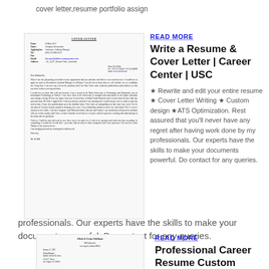cover letter,resume portfolio assign
[Figure (photo): Scanned image of a cover letter document addressed from a person applying for an Assistance Auditing Manager position]
READ MORE
Write a Resume & Cover Letter | Career Center | USC
★ Rewrite and edit your entire resume ★ Cover Letter Writing ★ Custom design ★ATS Optimization. Rest assured that you'll never have any regret after having work done by my professionals. Our experts have the skills to make your documents powerful. Do contact for any queries.
professionals. Our experts have the skills to make your documents powerful. Do contact for any queries.
[Figure (photo): Scanned image of a second cover letter from Olivia & Evans Huffman addressed to a Hiring Manager at Qantas Airlines & Assoc.]
READ MORE
Professional Career Resume Custom Resume